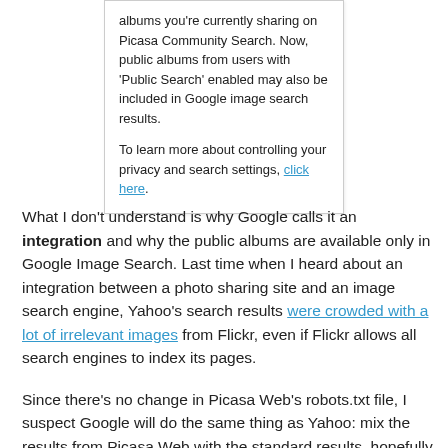albums you're currently sharing on Picasa Community Search. Now, public albums from users with 'Public Search' enabled may also be included in Google image search results.

To learn more about controlling your privacy and search settings, click here.
What I don't understand is why Google calls it an integration and why the public albums are available only in Google Image Search. Last time when I heard about an integration between a photo sharing site and an image search engine, Yahoo's search results were crowded with a lot of irrelevant images from Flickr, even if Flickr allows all search engines to index its pages.
Since there's no change in Picasa Web's robots.txt file, I suspect Google will do the same thing as Yahoo: mix the results from Picasa Web with the standard results, hopefully in a balanced manner. That means the public photos from Google's image hosting service will continue to be